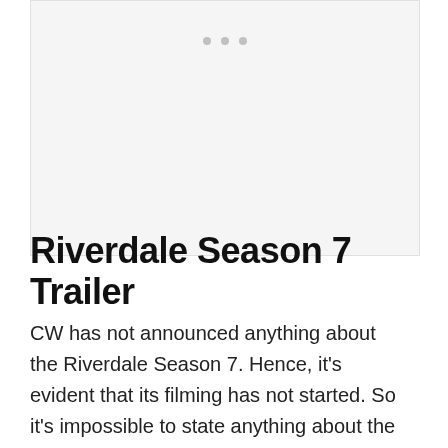[Figure (other): Placeholder image area with three gray dots indicating an unloaded or placeholder image for Riverdale Season 7 Trailer content.]
Riverdale Season 7 Trailer
CW has not announced anything about the Riverdale Season 7. Hence, it's evident that its filming has not started. So it's impossible to state anything about the Season 7 trailer.